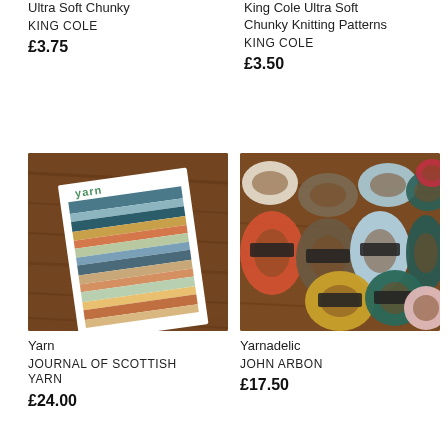Ultra Soft Chunky
KING COLE
£3.75
King Cole Ultra Soft Chunky Knitting Patterns
KING COLE
£3.50
[Figure (photo): A knitting pattern booklet titled 'YARN' showing colorful stranded knitting samples, placed on a dark wooden surface]
[Figure (photo): Multiple skeins of yarn in various colors (rust/orange, brown, light blue, teal/dark green, mustard yellow, red, and light pink) with branded labels, arranged on a wooden surface]
Yarn
JOURNAL OF SCOTTISH YARN
£24.00
Yarnadelic
JOHN ARBON
£17.50